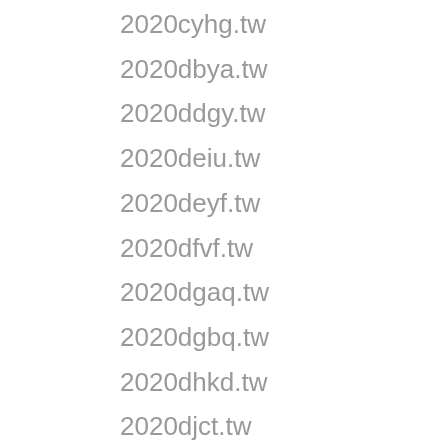2020cyhg.tw
2020dbya.tw
2020ddgy.tw
2020deiu.tw
2020deyf.tw
2020dfvf.tw
2020dgaq.tw
2020dgbq.tw
2020dhkd.tw
2020djct.tw
2020dlug.tw
2020dmdr.tw
2020dmxy.tw
2020dnzz.tw
2020dpzk.tw
2020drsm.tw
2020dtxw.tw
2020dvya.tw
2020dyfo.tw
2020dyru.tw
2020easl.tw
2020ecwz.tw
2020eidf.tw
2020eket.tw